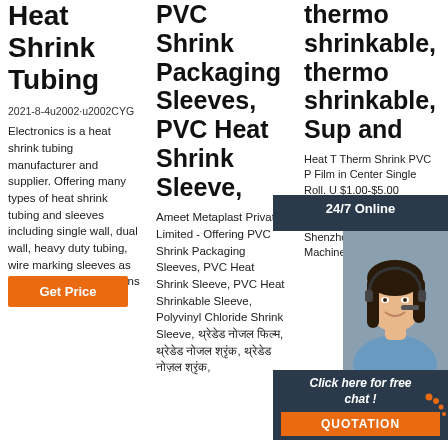Heat Shrink Tubing
2021-8-4u2002·u2002CYG Electronics is a heat shrink tubing manufacturer and supplier. Offering many types of heat shrink tubing and sleeves including single wall, dual wall, heavy duty tubing, wire marking sleeves as well as cable terminations and joints.
PVC Shrink Packaging Sleeves, PVC Heat Shrink Sleeve,
Ameet Metaplast Private Limited - Offering PVC Shrink Packaging Sleeves, PVC Heat Shrink Sleeve, PVC Heat Shrinkable Sleeve, Polyvinyl Chloride Shrink Sleeve, थ्रेडेड नोजल फिल्म, थ्रेडेड नोजल श्रृंक, थ्रेडेड नोज़ल श्रृंक,
thermo shrinkable, thermo shrinkable, Sup and
Heat T Therm Shrink PVC P Film in Center Single Roll. U $1.00-$5.00 Kilogram. 500.0 Kilograms (Min. Order) CN Xiamen Shenzhou Packing Machine
[Figure (photo): Customer service agent with headset, smiling, dark hair]
24/7 Online
Click here for free chat!
QUOTATION
Get Price